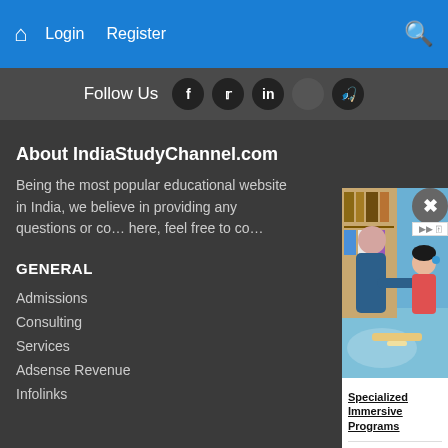Home Login Register [Search]
Follow Us [Facebook] [Twitter] [LinkedIn] [Social] [YouTube]
About IndiaStudyChannel.com
Being the most popular educational website in India, we believe in providing any questions or co… here, feel free to co…
GENERAL
Admissions
Consulting
Services
Adsense Revenue
Infolinks
[Figure (photo): Advertisement showing a teacher and young girl in a classroom setting with educational materials]
Specialized Immersive Programs
Karter School    Contact Us >